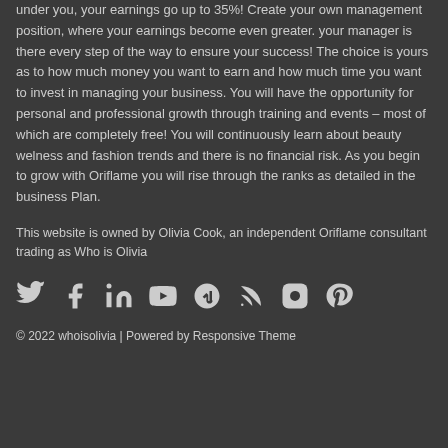under you, your earnings go up to 35%! Create your own management position, where your earnings become even greater. your manager is there every step of the way to ensure your success! The choice is yours as to how much money you want to earn and how much time you want to invest in managing your business. You will have the opportunity for personal and professional growth through training and events – most of which are completely free! You will continuously learn about beauty welness and fashion trends and there is no financial risk. As you begin to grow with Oriflame you will rise through the ranks as detailed in the business Plan.
This website is owned by Olivia Cook, an independent Oriflame consultant trading as Who is Olivia
[Figure (infographic): Row of social media icons: Twitter, Facebook, LinkedIn, YouTube, StumbleUpon, RSS, Instagram, Pinterest]
© 2022 whoisolivia | Powered by Responsive Theme